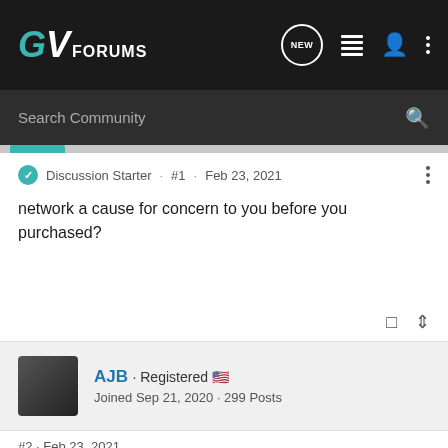GV FORUMS
Search Community
Discussion Starter · #1 · Feb 23, 2021
network a cause for concern to you before you purchased?
AJB · Registered
Joined Sep 21, 2020 · 299 Posts
#2 · Feb 23, 2021